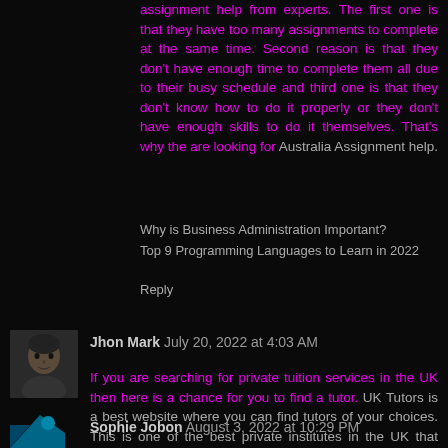assignment help from experts. The first one is that they have too many assignments to complete at the same time. Second reason is that they don't have enough time to complete them all due to their busy schedule and third one is that they don't know how to do it properly or they don't have enough skills to do it themselves. That's why the are looking for Australia Assignment help.
Why is Business Administration Important?
Top 9 Programming Languages to Learn in 2022
Reply
Jhon Mark  July 20, 2022 at 4:03 AM
If you are searching for private tuition services in the UK then here is a chance for you to find a tutor. UK Tutors is a best website where you can find tutors of your choices. This is one of the best private institutes in the UK that provides tuition services related to every subject.
Reply
Sophie Jobon  August 3, 2022 at 10:29 PM